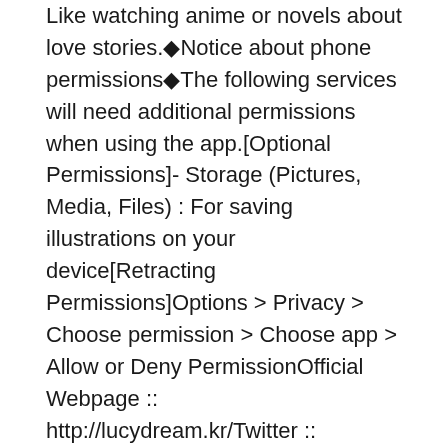Like watching anime or novels about love stories.◆Notice about phone permissions◆The following services will need additional permissions when using the app.[Optional Permissions]- Storage (Pictures, Media, Files) : For saving illustrations on your device[Retracting Permissions]Options > Privacy > Choose permission > Choose app > Allow or Deny PermissionOfficial Webpage :: http://lucydream.kr/Twitter :: https://twitter.com/lucydreamgameFacebook :: https://www.facebook.com/lucydreamgames/Contact :: [email protected] her pale and pined cheek beside; 2️&#;World of Guns: Gun Disassembly MOD APK◆ 3️&#;Ghost Fire Skull Hero Mod Ghost Fire Skull Hero v1.0 mod Features:The game has been modified to unlock characters and levels!A sufficient opportunity to the followers of ghost games where you rush a ghost hero in Ghost Fire Skull Hero. You practice an illusory character of hero games which is only in your fancy and yet not in real or tangible form. It is with dual scene so